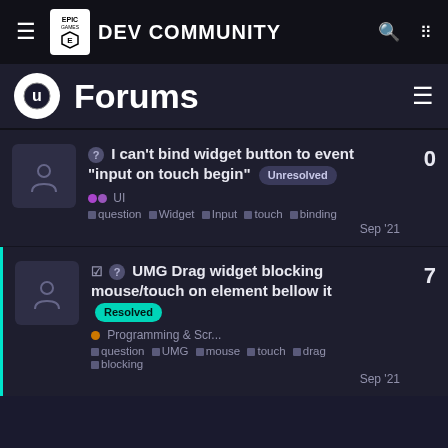EPIC GAMES DEV COMMUNITY
Forums
I can't bind widget button to event "input on touch begin" Unresolved
UI
question Widget Input touch binding
Sep '21
0
UMG Drag widget blocking mouse/touch on element bellow it Resolved
Programming & Scr...
question UMG mouse touch drag blocking
Sep '21
7